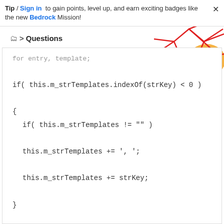Tip / Sign in to gain points, level up, and earn exciting badges like the new Bedrock Mission!
> Questions
[Figure (illustration): Decorative geometric red line art with orange shapes in upper right corner]
for entry, template;
if( this.m_strTemplates.indexOf(strKey) < 0 )
{
    if( this.m_strTemplates != "" )
    this.m_strTemplates += ', ';
    this.m_strTemplates += strKey;
}
this.m_iAlertCount += iAlertCount;
this.m_iBlackListCount += iBlackListCount;